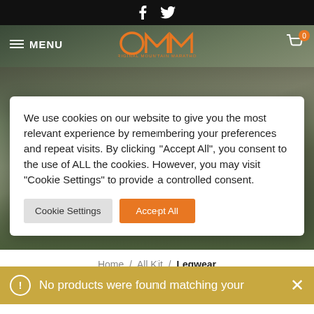f  (Facebook icon)  (Twitter icon)
[Figure (screenshot): OMM (Original Mountain Marathon) website hero image showing mountain runners on rocky terrain with navigation bar overlay including hamburger menu, OMM logo, and cart icon]
We use cookies on our website to give you the most relevant experience by remembering your preferences and repeat visits. By clicking “Accept All”, you consent to the use of ALL the cookies. However, you may visit “Cookie Settings” to provide a controlled consent.
Cookie Settings   Accept All
Home / All Kit / Legwear
SHOW SIDEBAR
No products were found matching your